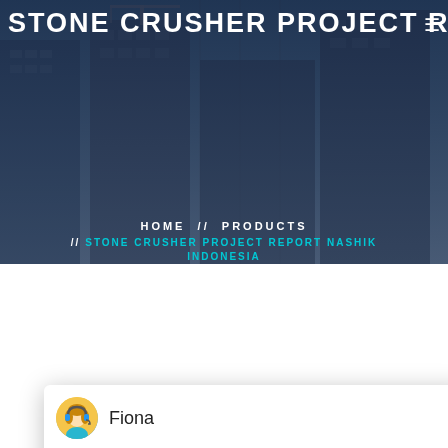STONE CRUSHER PROJECT REPO
HOME // PRODUCTS // STONE CRUSHER PROJECT REPORT NASHIK INDONESIA
[Figure (screenshot): Chat popup with avatar of Fiona (female cartoon avatar with headset), showing message: Hello, I am Fiona, I am very glad to talk with you!]
Fiona
Hello, I am Fiona, I am very glad to talk with you!
Latest Projects
[Figure (photo): Industrial stone crusher machinery equipment inside a factory/plant facility]
1